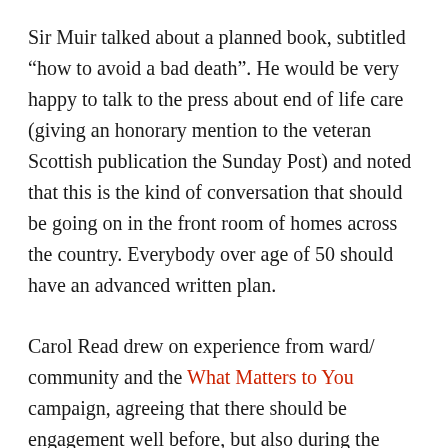Sir Muir talked about a planned book, subtitled “how to avoid a bad death”. He would be very happy to talk to the press about end of life care (giving an honorary mention to the veteran Scottish publication the Sunday Post) and noted that this is the kind of conversation that should be going on in the front room of homes across the country. Everybody over age of 50 should have an advanced written plan.
Carol Read drew on experience from ward/ community and the What Matters to You campaign, agreeing that there should be engagement well before, but also during the episode of care.